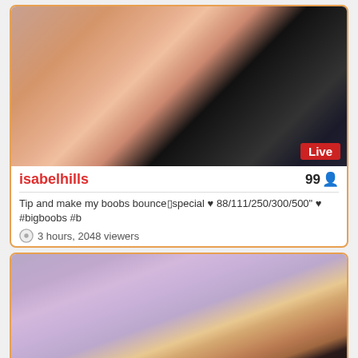[Figure (screenshot): Live stream thumbnail showing close-up adult content with Live badge overlay]
isabelhills
99
Tip and make my boobs bounce▯special ♥ 88/111/250/300/500" ♥ #bigboobs #b
3 hours, 2048 viewers
[Figure (screenshot): Second live stream thumbnail showing a woman with snake tattoo on arm in bedroom setting]